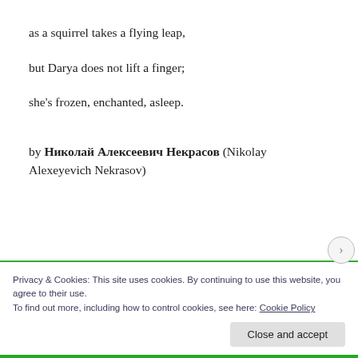as a squirrel takes a flying leap,
but Darya does not lift a finger;
she's frozen, enchanted, asleep.
by Николай Алексеевич Некрасов (Nikolay Alexeyevich Nekrasov)
Privacy & Cookies: This site uses cookies. By continuing to use this website, you agree to their use.
To find out more, including how to control cookies, see here: Cookie Policy
Close and accept